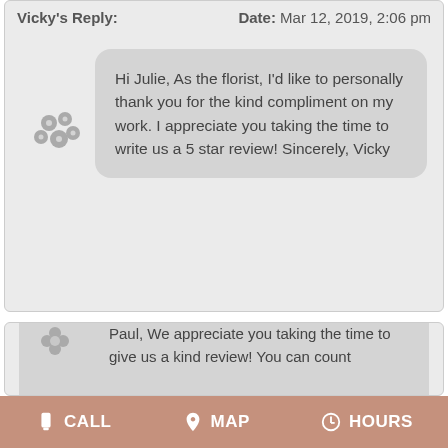Vicky's Reply:    Date: Mar 12, 2019, 2:06 pm
Hi Julie, As the florist, I'd like to personally thank you for the kind compliment on my work. I appreciate you taking the time to write us a 5 star review! Sincerely, Vicky
Date: Feb 28, 2019
Name: Paul C
State/Province:CA
Fantastic Service and floral arrangement
Vicky's Reply:    Date: Feb 28, 2019, 11:24 am
Paul, We appreciate you taking the time to give us a kind review! You can count
CALL    MAP    HOURS